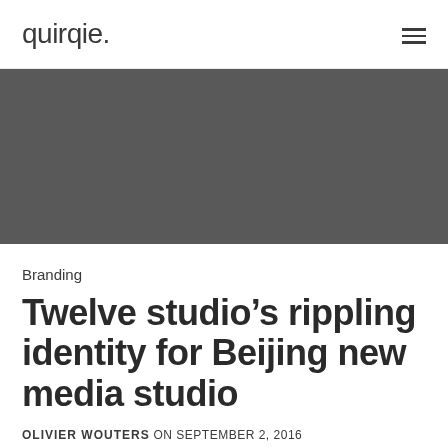quirqie.
[Figure (photo): Dark gray hero image placeholder for article]
Branding
Twelve studio’s rippling identity for Beijing new media studio
OLIVIER WOUTERS ON SEPTEMBER 2, 2016